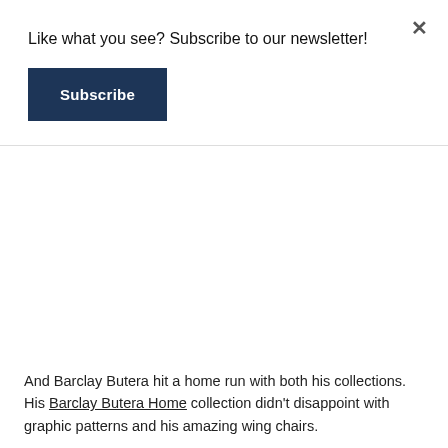Like what you see? Subscribe to our newsletter!
Subscribe
[Figure (photo): Blank white image area between newsletter popup and article text]
And Barclay Butera hit a home run with both his collections. His Barclay Butera Home collection didn't disappoint with graphic patterns and his amazing wing chairs.